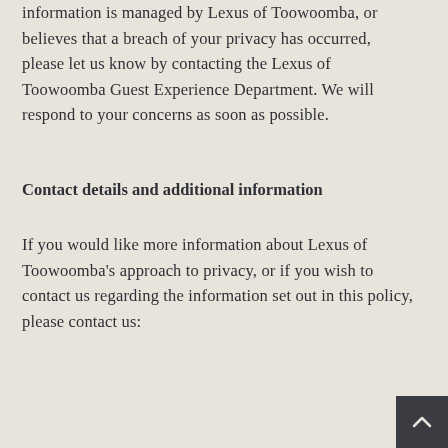information is managed by Lexus of Toowoomba, or believes that a breach of your privacy has occurred, please let us know by contacting the Lexus of Toowoomba Guest Experience Department. We will respond to your concerns as soon as possible.
Contact details and additional information
If you would like more information about Lexus of Toowoomba's approach to privacy, or if you wish to contact us regarding the information set out in this policy, please contact us: